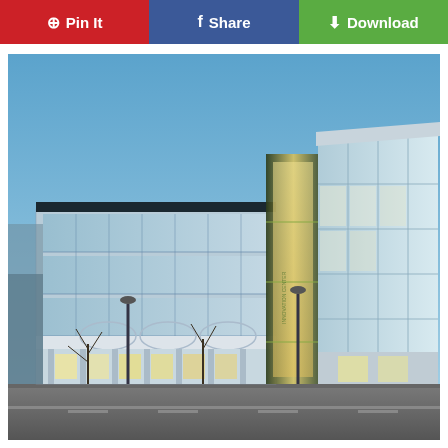[Figure (screenshot): Social sharing toolbar with three buttons: Pin It (red, Pinterest), Share (blue, Facebook), Download (green)]
[Figure (photo): Exterior photograph of a modern multi-story commercial office building with extensive glass curtain wall facade, taken at dusk or blue hour. The building features multiple floors of floor-to-ceiling glass windows, a distinctive illuminated atrium/connector section between two wings, and a lower historic-style base with arched architectural details and colonnade at street level. Street lamps and bare trees are visible in the foreground.]